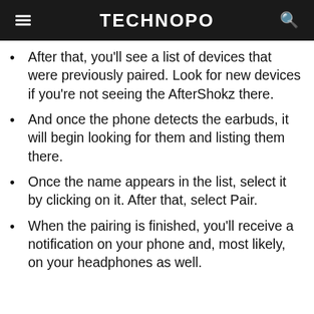TECHNOPO
After that, you'll see a list of devices that were previously paired. Look for new devices if you're not seeing the AfterShokz there.
And once the phone detects the earbuds, it will begin looking for them and listing them there.
Once the name appears in the list, select it by clicking on it. After that, select Pair.
When the pairing is finished, you'll receive a notification on your phone and, most likely, on your headphones as well.